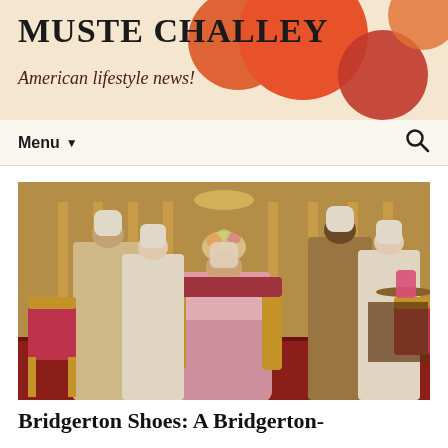MUSTE CHALLEY — American lifestyle news!
Menu ▼
[Figure (photo): Group of actors in period Regency-era costumes in an ornate golden room, from the TV show Bridgerton. A woman in a pink dress sits center in an armchair, surrounded by four standing figures in elaborate white and cream gowns with powdered wigs and turbans. Red and gold chairs, a chandelier, and a table with desserts are visible.]
Bridgerton Shoes: A Bridgerton-